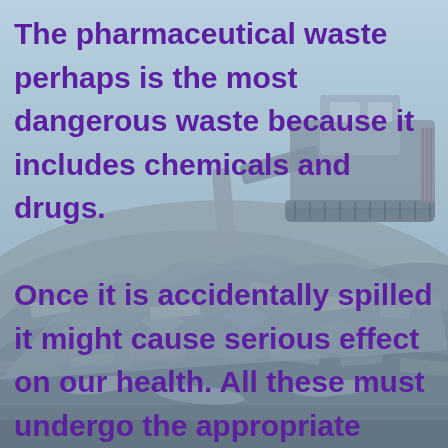[Figure (photo): Background photo of a landfill/waste dump site with a bulldozer on top of a large mound of industrial and household waste, under a pale blue-grey sky.]
The pharmaceutical waste perhaps is the most dangerous waste because it includes chemicals and drugs. Once it is accidentally spilled it might cause serious effect on our health. All these must undergo the appropriate hospital waste disposal